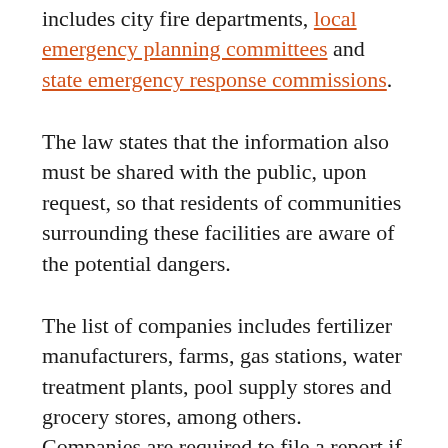includes city fire departments, local emergency planning committees and state emergency response commissions.
The law states that the information also must be shared with the public, upon request, so that residents of communities surrounding these facilities are aware of the potential dangers.
The list of companies includes fertilizer manufacturers, farms, gas stations, water treatment plants, pool supply stores and grocery stores, among others. Companies are required to file a report if the chemicals they store exceed certain thresholds, which range